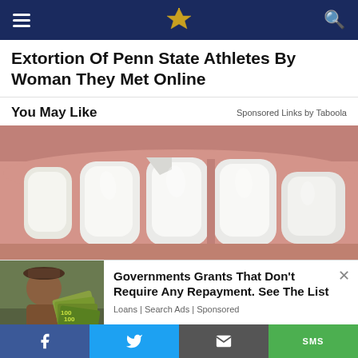Extortion Of Penn State Athletes By Woman They Met Online
You May Like
Sponsored Links by Taboola
[Figure (photo): Close-up photo of a person's teeth and gums showing bright white front teeth]
[Figure (photo): Ad thumbnail showing a person holding fan of US hundred dollar bills outdoors]
Governments Grants That Don't Require Any Repayment. See The List
Loans | Search Ads | Sponsored
Facebook  Twitter  Email  SMS